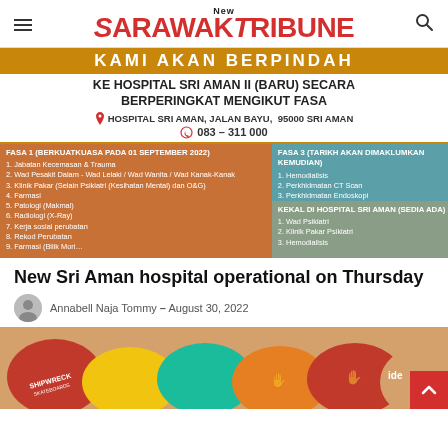New Sarawak Tribune
[Figure (infographic): Hospital announcement notice in Malay: KAMI AKAN BERPINDAH KE HOSPITAL SRI AMAN II (BARU) SECARA BERPERINGKAT MENGIKUT FASA. Address: Hospital Sri Aman, Jalan Bayu, 95000 Sri Aman. Phone: 083-311 000. Two-column grid showing Fasa 1, Fasa 3, and what stays at Hospital Sri Aman.]
New Sri Aman hospital operational on Thursday
Annabell Naja Tommy – August 30, 2022
[Figure (photo): Colorful hats/caps on display including brands Shipwreck and others in various colors]